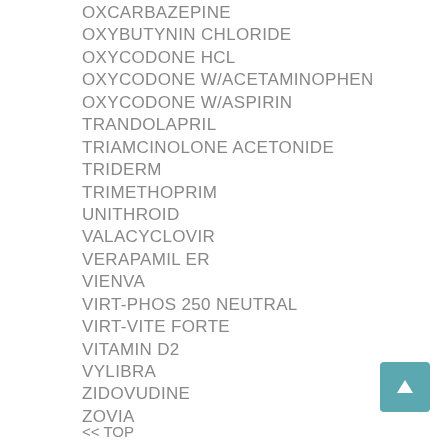OXCARBAZEPINE
OXYBUTYNIN CHLORIDE
OXYCODONE HCL
OXYCODONE W/ACETAMINOPHEN
OXYCODONE W/ASPIRIN
TRANDOLAPRIL
TRIAMCINOLONE ACETONIDE
TRIDERM
TRIMETHOPRIM
UNITHROID
VALACYCLOVIR
VERAPAMIL ER
VIENVA
VIRT-PHOS 250 NEUTRAL
VIRT-VITE FORTE
VITAMIN D2
VYLIBRA
ZIDOVUDINE
ZOVIA
<< TOP